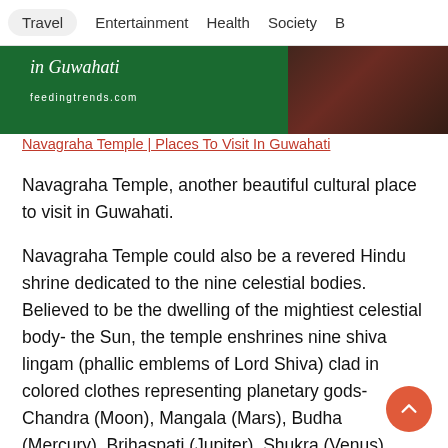Travel | Entertainment | Health | Society | B
[Figure (photo): Green banner image with italic text 'in Guwahati' and feedingtrends.com URL, with dark red decorative image on right side]
Navagraha Temple | Places To Visit In Guwahati
Navagraha Temple, another beautiful cultural place to visit in Guwahati.
Navagraha Temple could also be a revered Hindu shrine dedicated to the nine celestial bodies. Believed to be the dwelling of the mightiest celestial body- the Sun, the temple enshrines nine shiva lingam (phallic emblems of Lord Shiva) clad in colored clothes representing planetary gods- Chandra (Moon), Mangala (Mars), Budha (Mercury), Brihaspati (Jupiter), Shukra (Venus), Shani (Saturn), Rahu (North lunar Node) and Ketu (South lunar Node).